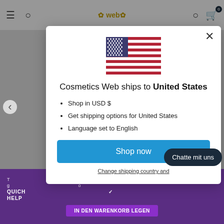[Figure (screenshot): Website header with hamburger menu, search icon, Cosmetics Web logo, user account icon, and shopping cart with 0 items]
[Figure (illustration): US flag displayed in the modal dialog]
Cosmetics Web ships to United States
Shop in USD $
Get shipping options for United States
Language set to English
Shop now
Change shipping country and
Chatte mit uns
IN DEN WARENKORB LEGEN